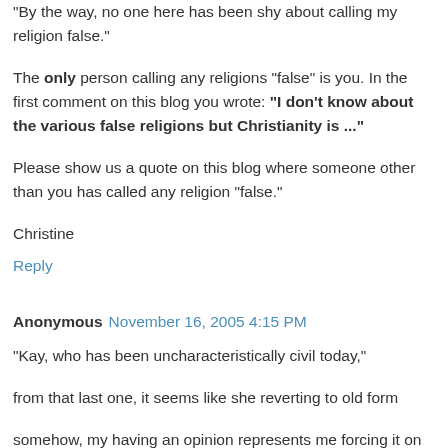"By the way, no one here has been shy about calling my religion false."
The only person calling any religions "false" is you. In the first comment on this blog you wrote: "I don't know about the various false religions but Christianity is ..."
Please show us a quote on this blog where someone other than you has called any religion "false."
Christine
Reply
Anonymous November 16, 2005 4:15 PM
"Kay, who has been uncharacteristically civil today,"
from that last one, it seems like she reverting to old form
somehow, my having an opinion represents me forcing it on others?